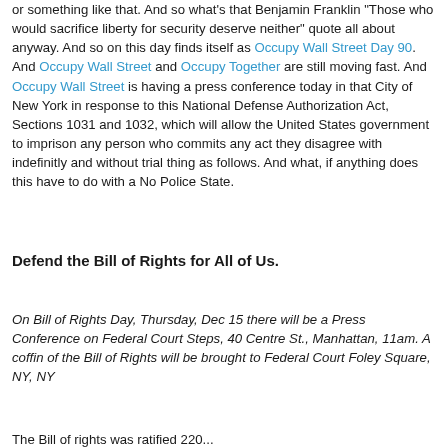or something like that. And so what's that Benjamin Franklin "Those who would sacrifice liberty for security deserve neither" quote all about anyway. And so on this day finds itself as Occupy Wall Street Day 90. And Occupy Wall Street and Occupy Together are still moving fast. And Occupy Wall Street is having a press conference today in that City of New York in response to this National Defense Authorization Act, Sections 1031 and 1032, which will allow the United States government to imprison any person who commits any act they disagree with indefinitly and without trial thing as follows. And what, if anything does this have to do with a No Police State.
Defend the Bill of Rights for All of Us.
On Bill of Rights Day, Thursday, Dec 15 there will be a Press Conference on Federal Court Steps, 40 Centre St., Manhattan, 11am. A coffin of the Bill of Rights will be brought to Federal Court Foley Square, NY, NY
The Bill of rights was ratified 220...